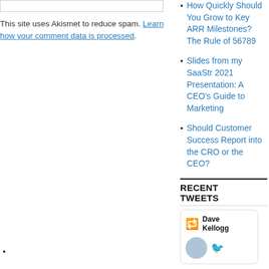This site uses Akismet to reduce spam. Learn how your comment data is processed.
How Quickly Should You Grow to Key ARR Milestones? The Rule of 56789
Slides from my SaaStr 2021 Presentation: A CEO's Guide to Marketing
Should Customer Success Report into the CRO or the CEO?
RECENT TWEETS
[Figure (other): Tweet card showing Dave Kellogg retweet with avatar and Twitter bird icon]